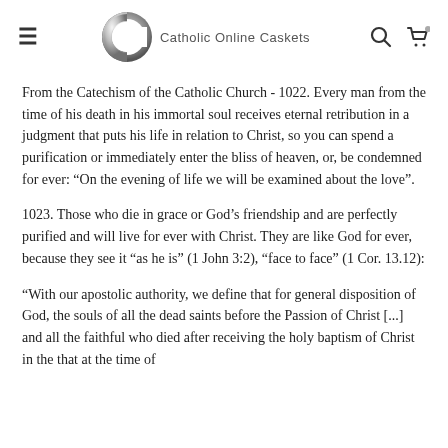Catholic Online Caskets
From the Catechism of the Catholic Church - 1022. Every man from the time of his death in his immortal soul receives eternal retribution in a judgment that puts his life in relation to Christ, so you can spend a purification or immediately enter the bliss of heaven, or, be condemned for ever: “On the evening of life we will be examined about the love”.
1023. Those who die in grace or God’s friendship and are perfectly purified and will live for ever with Christ. They are like God for ever, because they see it “as he is” (1 John 3:2), “face to face” (1 Cor. 13.12):
“With our apostolic authority, we define that for general disposition of God, the souls of all the dead saints before the Passion of Christ [...] and all the faithful who died after receiving the holy baptism of Christ in the that at the time of